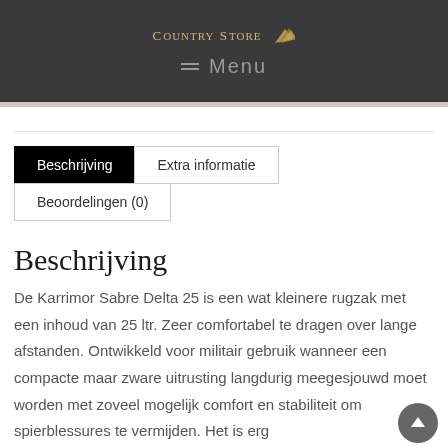Country Store — Menu
Beschrijving | Extra informatie | Beoordelingen (0)
Beschrijving
De Karrimor Sabre Delta 25 is een wat kleinere rugzak met een inhoud van 25 ltr. Zeer comfortabel te dragen over lange afstanden. Ontwikkeld voor militair gebruik wanneer een compacte maar zware uitrusting langdurig meegesjouwd moet worden met zoveel mogelijk comfort en stabiliteit om spierblessures te vermijden. Het is erg